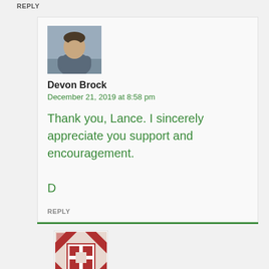REPLY
[Figure (photo): Avatar photo of Devon Brock, a man in a grey shirt with arms crossed]
Devon Brock
December 21, 2019 at 8:58 pm
Thank you, Lance. I sincerely appreciate you support and encouragement.

D
REPLY
[Figure (illustration): Quilt-pattern avatar icon with red and white geometric design]